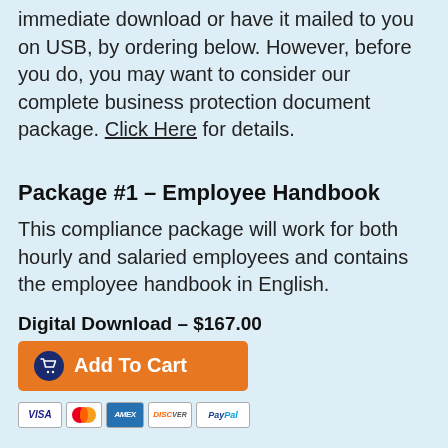immediate download or have it mailed to you on USB, by ordering below. However, before you do, you may want to consider our complete business protection document package. Click Here for details.
Package #1 – Employee Handbook
This compliance package will work for both hourly and salaried employees and contains the employee handbook in English.
Digital Download – $167.00
[Figure (other): Orange Add To Cart button with dark blue circular cart icon]
[Figure (other): Row of payment method icons: VISA, MasterCard, American Express, Discover, PayPal]
Mailed on USB Drive – $167.00
[Figure (other): Orange Add To Cart button with dark blue circular cart icon]